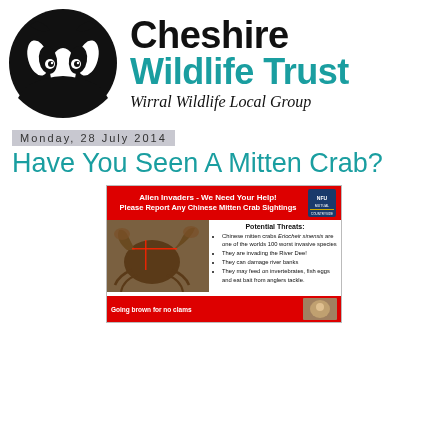[Figure (logo): Cheshire Wildlife Trust logo: black badger face on circular black background, with organisation name 'Cheshire Wildlife Trust' and subtitle 'Wirral Wildlife Local Group']
Monday, 28 July 2014
Have You Seen A Mitten Crab?
[Figure (photo): An informational flyer about Chinese Mitten Crabs. Red banner reads 'Alien Invaders - We Need Your Help! Please Report Any Chinese Mitten Crab Sightings'. Below is a photo of a crab on the left and a bullet list 'Potential Threats' on the right. Bottom strip also red with text 'Going brown for no clams'.]